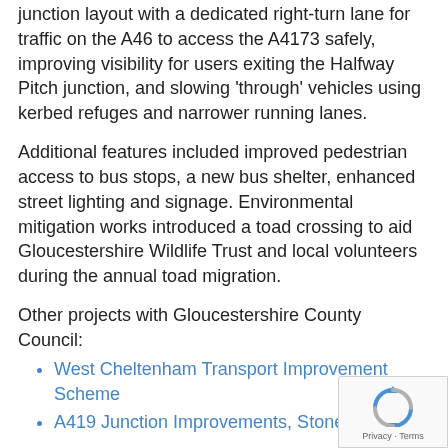junction layout with a dedicated right-turn lane for traffic on the A46 to access the A4173 safely, improving visibility for users exiting the Halfway Pitch junction, and slowing 'through' vehicles using kerbed refuges and narrower running lanes.
Additional features included improved pedestrian access to bus stops, a new bus shelter, enhanced street lighting and signage. Environmental mitigation works introduced a toad crossing to aid Gloucestershire Wildlife Trust and local volunteers during the annual toad migration.
Other projects with Gloucestershire County Council:
West Cheltenham Transport Improvement Scheme
A419 Junction Improvements, Stonehouse
[Figure (logo): reCAPTCHA logo with Privacy and Terms text]